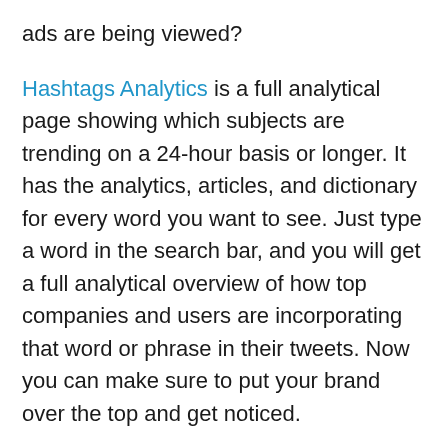ads are being viewed?
Hashtags Analytics is a full analytical page showing which subjects are trending on a 24-hour basis or longer. It has the analytics, articles, and dictionary for every word you want to see. Just type a word in the search bar, and you will get a full analytical overview of how top companies and users are incorporating that word or phrase in their tweets. Now you can make sure to put your brand over the top and get noticed.
If you use all the tools that have been laid out for you, your product, brand, property, and